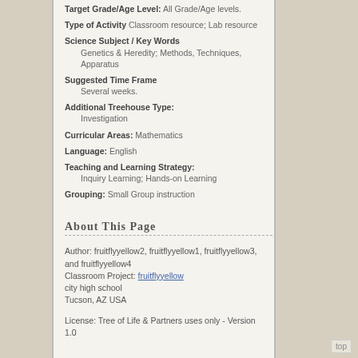Target Grade/Age Level: All Grade/Age levels.
Type of Activity  Classroom resource; Lab resource
Science Subject / Key Words  Genetics & Heredity; Methods, Techniques, Apparatus
Suggested Time Frame  Several weeks.
Additional Treehouse Type:  Investigation
Curricular Areas:  Mathematics
Language:  English
Teaching and Learning Strategy:  Inquiry Learning; Hands-on Learning
Grouping:  Small Group instruction
About This Page
Author: fruitflyyellow2, fruitflyyellow1, fruitflyyellow3, and fruitflyyellow4
Classroom Project: fruitflyyellow
city high school
Tucson, AZ USA
License: Tree of Life & Partners uses only - Version 1.0